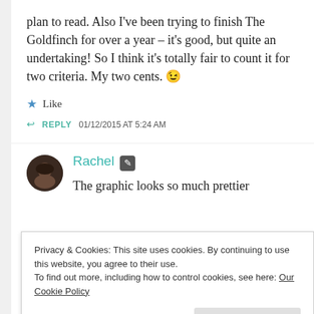plan to read. Also I've been trying to finish The Goldfinch for over a year – it's good, but quite an undertaking! So I think it's totally fair to count it for two criteria. My two cents. 😉
★ Like
↩ REPLY  01/12/2015 AT 5:24 AM
Rachel 🖊
The graphic looks so much prettier
Privacy & Cookies: This site uses cookies. By continuing to use this website, you agree to their use.
To find out more, including how to control cookies, see here: Our Cookie Policy
Close and accept
dont like doing too many challenges